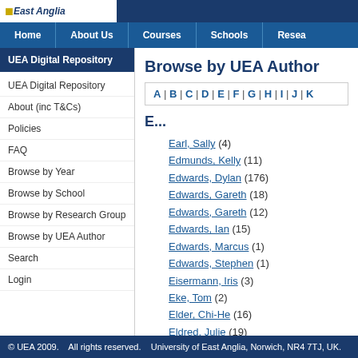UEA East Anglia | Home | About Us | Courses | Schools | Resea...
UEA Digital Repository
UEA Digital Repository
About (inc T&Cs)
Policies
FAQ
Browse by Year
Browse by School
Browse by Research Group
Browse by UEA Author
Search
Login
Browse by UEA Author
A | B | C | D | E | F | G | H | I | J | K
E...
Earl, Sally (4)
Edmunds, Kelly (11)
Edwards, Dylan (176)
Edwards, Gareth (18)
Edwards, Gareth (12)
Edwards, Ian (15)
Edwards, Marcus (1)
Edwards, Stephen (1)
Eisermann, Iris (3)
Eke, Tom (2)
Elder, Chi-He (16)
Eldred, Julie (19)
Elender, Frances (2)
Elford, Daniel (2)
Ellington, Peter (2)
Elliott, John (38)
Elliott, Ralph (13)
© UEA 2009.    All rights reserved.    University of East Anglia, Norwich, NR4 7TJ, UK.